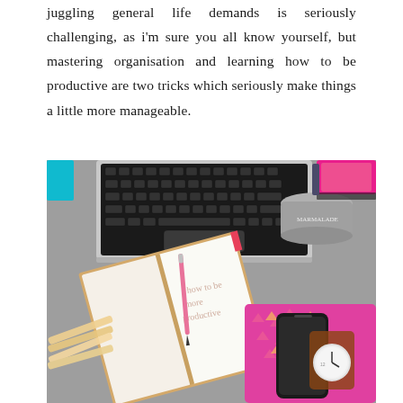juggling general life demands is seriously challenging, as i'm sure you all know yourself, but mastering organisation and learning how to be productive are two tricks which seriously make things a little more manageable.
[Figure (photo): Overhead flat-lay photo of a desk with a MacBook laptop keyboard, an open notebook with a pink pen resting on it with handwritten text reading 'how to be more productive' with hearts, pencils, a pink fabric pouch, a smartphone, a wristwatch, a candle tin, pink books, and a teal notebook.]